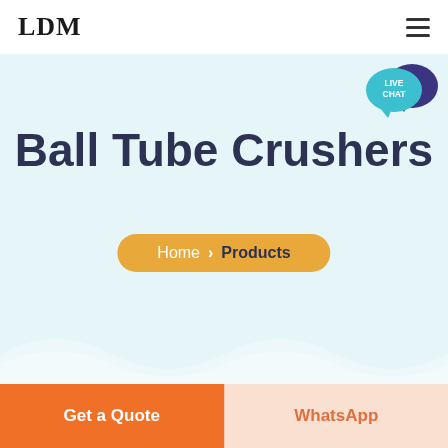LDM
[Figure (screenshot): Live Chat bubble icon in teal/dark blue in top right corner]
Ball Tube Crushers
Home > Products
Get a Quote
WhatsApp